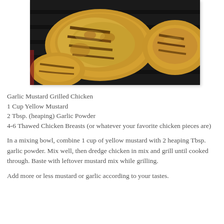[Figure (photo): Grilled chicken pieces with grill marks on a grill grate, showing golden-yellow color from mustard marinade]
Garlic Mustard Grilled Chicken
1 Cup Yellow Mustard
2 Tbsp. (heaping) Garlic Powder
4-6 Thawed Chicken Breasts (or whatever your favorite chicken pieces are)
In a mixing bowl, combine 1 cup of yellow mustard with 2 heaping Tbsp. garlic powder. Mix well, then dredge chicken in mix and grill until cooked through. Baste with leftover mustard mix while grilling.
Add more or less mustard or garlic according to your tastes.